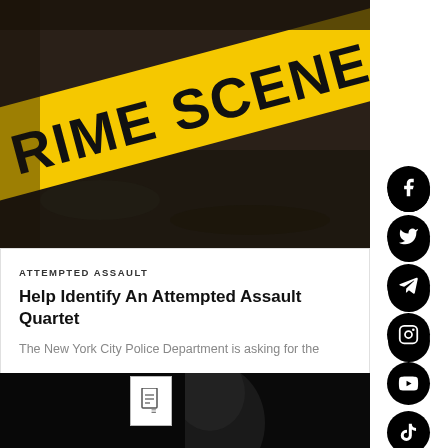[Figure (photo): Crime scene do not cross yellow police tape, photographed diagonally against a dark background]
ATTEMPTED ASSAULT
Help Identify An Attempted Assault Quartet
The New York City Police Department is asking for the
[Figure (photo): Partial dark image at bottom, person's silhouette or face barely visible]
[Figure (other): Social media icons sidebar: Facebook, Twitter, Telegram, Instagram, YouTube, TikTok, Email, Phone, and scroll-to-top button]